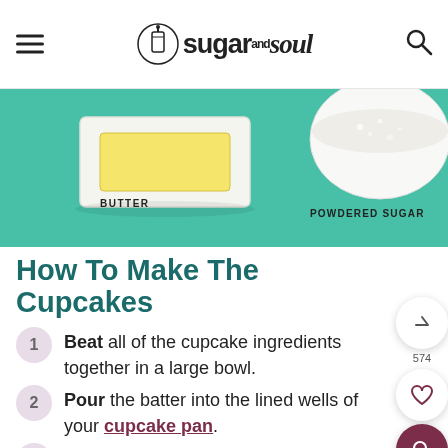sugar and soul
[Figure (photo): Top-down photo of baking ingredients on a teal background: a stick of butter on a white dish labeled BUTTER, and a bowl of powdered sugar labeled POWDERED SUGAR]
How To Make The Cupcakes
Beat all of the cupcake ingredients together in a large bowl.
Pour the batter into the lined wells of your cupcake pan.
Bake the cupcakes at a reduced heat from the original preheated oven. Once a toothpick